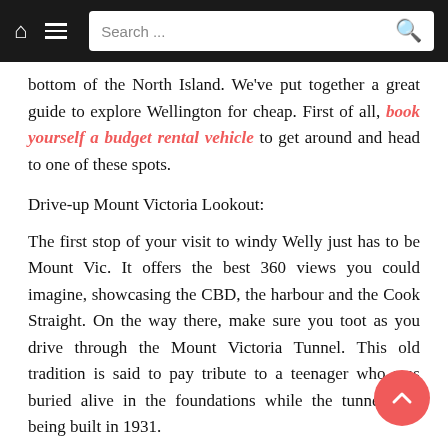Search ...
bottom of the North Island. We've put together a great guide to explore Wellington for cheap. First of all, book yourself a budget rental vehicle to get around and head to one of these spots.
Drive-up Mount Victoria Lookout:
The first stop of your visit to windy Welly just has to be Mount Vic. It offers the best 360 views you could imagine, showcasing the CBD, the harbour and the Cook Straight. On the way there, make sure you toot as you drive through the Mount Victoria Tunnel. This old tradition is said to pay tribute to a teenager who was buried alive in the foundations while the tunnel was being built in 1931.
Te Papa:
Aotearoa's national museum is one of the best free pound for pound, day trips you can do in New